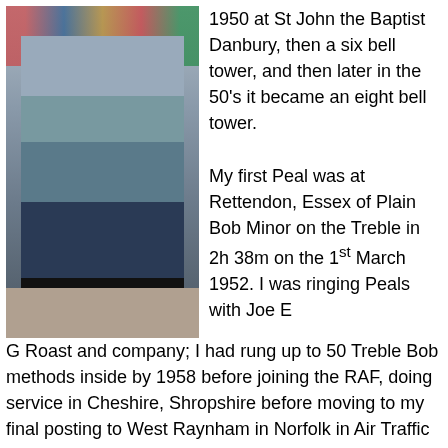[Figure (photo): An elderly man sitting in a church, with stained glass windows visible behind him.]
1950 at St John the Baptist Danbury, then a six bell tower, and then later in the 50's it became an eight bell tower.

My first Peal was at Rettendon, Essex of Plain Bob Minor on the Treble in 2h 38m on the 1st March 1952. I was ringing Peals with Joe E G Roast and company; I had rung up to 50 Treble Bob methods inside by 1958 before joining the RAF, doing service in Cheshire, Shropshire before moving to my final posting to West Raynham in Norfolk in Air Traffic Control at the Central Fighter Establishment, to complete 3 years' service. I did a lot of my ringing in Kings Lynn with Norman Harding and others. I was able to ring several Peals while in Norfolk, one being the fastest on tower bells at the time, at Saxthorpe, Plain Bob Minor on the 5th in 1h 58 and a half minutes on the 3rd of